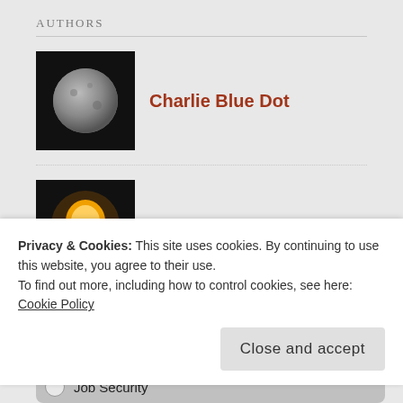AUTHORS
Charlie Blue Dot
Winston
[Figure (other): Poll widget titled 'What Is Your Favorite Post Category?' with a radio option 'Job Security']
Privacy & Cookies: This site uses cookies. By continuing to use this website, you agree to their use.
To find out more, including how to control cookies, see here: Cookie Policy
Close and accept